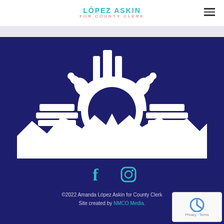LÓPEZ ASKIN FOR COUNTY CLERK
[Figure (logo): White zia sun symbol with mountain silhouette on dark navy background — campaign logo for López Askin for County Clerk]
[Figure (logo): Social media icons: Facebook and Instagram, in teal/cyan color]
©2022 Amanda López Askin for County Clerk
Site created by NMCO Media.